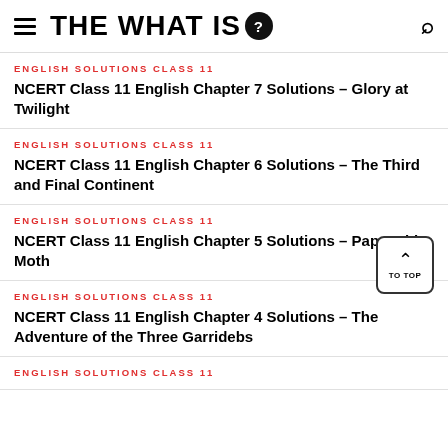THE WHAT IS?
ENGLISH SOLUTIONS CLASS 11
NCERT Class 11 English Chapter 7 Solutions – Glory at Twilight
ENGLISH SOLUTIONS CLASS 11
NCERT Class 11 English Chapter 6 Solutions – The Third and Final Continent
ENGLISH SOLUTIONS CLASS 11
NCERT Class 11 English Chapter 5 Solutions – Pappachi's Moth
ENGLISH SOLUTIONS CLASS 11
NCERT Class 11 English Chapter 4 Solutions – The Adventure of the Three Garridebs
ENGLISH SOLUTIONS CLASS 11